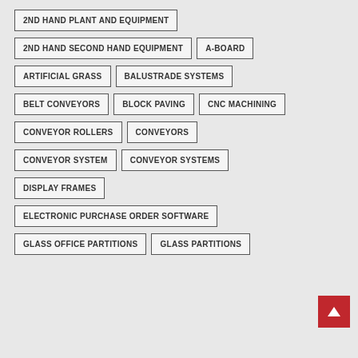2ND HAND PLANT AND EQUIPMENT
2ND HAND SECOND HAND EQUIPMENT
A-BOARD
ARTIFICIAL GRASS
BALUSTRADE SYSTEMS
BELT CONVEYORS
BLOCK PAVING
CNC MACHINING
CONVEYOR ROLLERS
CONVEYORS
CONVEYOR SYSTEM
CONVEYOR SYSTEMS
DISPLAY FRAMES
ELECTRONIC PURCHASE ORDER SOFTWARE
GLASS OFFICE PARTITIONS
GLASS PARTITIONS